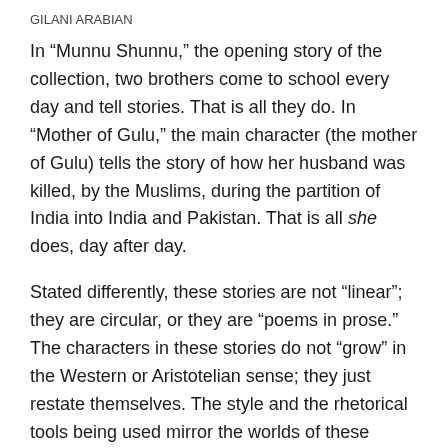GILANI ARABIAN
In “Munnu Shunnu,” the opening story of the collection, two brothers come to school every day and tell stories. That is all they do. In “Mother of Gulu,” the main character (the mother of Gulu) tells the story of how her husband was killed, by the Muslims, during the partition of India into India and Pakistan. That is all she does, day after day.
Stated differently, these stories are not “linear”; they are circular, or they are “poems in prose.” The characters in these stories do not “grow” in the Western or Aristotelian sense; they just restate themselves. The style and the rhetorical tools being used mirror the worlds of these people. To be sure, the repetition/refrain that is used cannot be so overdone that things become unreadable—there have to be little twists and turns—but that is about it.